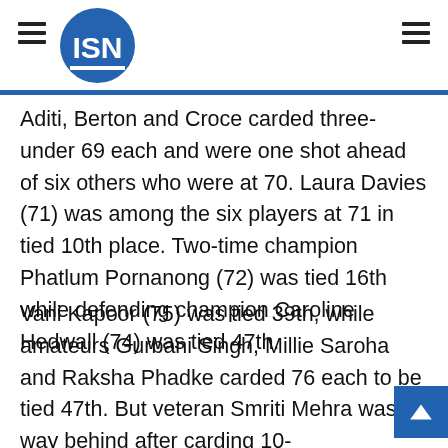ISN
Aditi, Berton and Croce carded three-under 69 each and were one shot ahead of six others who were at 70. Laura Davies (71) was among the six players at 71 in tied 10th place. Two-time champion Phatlum Pornanong (72) was tied 16th while defending champion Caroline Hedwall (74) was tied 47th.
Vani Kapoor (75) was tied 39th, while amateurs Gurbani Singh, Millie Saroha and Raksha Phadke carded 76 each to be tied 47th. But veteran Smriti Mehra was way behind after carding 10-